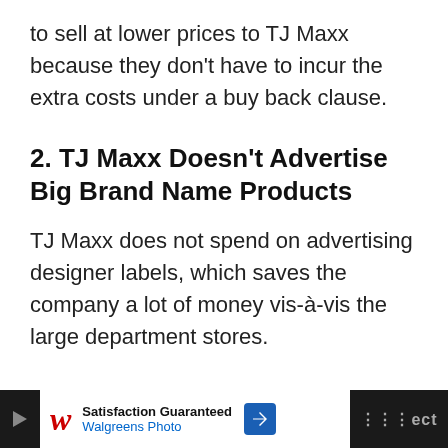to sell at lower prices to TJ Maxx because they don't have to incur the extra costs under a buy back clause.
2. TJ Maxx Doesn't Advertise Big Brand Name Products
TJ Maxx does not spend on advertising designer labels, which saves the company a lot of money vis-à-vis the large department stores.
[Figure (other): Advertisement banner: Walgreens Photo — Satisfaction Guaranteed]